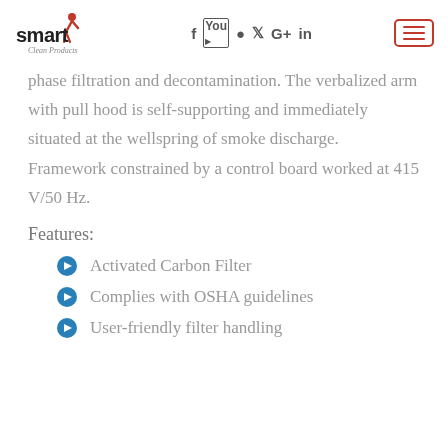smart clean products — navigation header with social icons and menu button
phase filtration and decontamination. The verbalized arm with pull hood is self-supporting and immediately situated at the wellspring of smoke discharge. Framework constrained by a control board worked at 415 V/50 Hz.
Features:
Activated Carbon Filter
Complies with OSHA guidelines
User-friendly filter handling